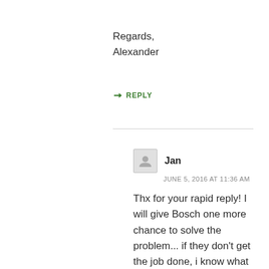Regards,
Alexander
↳ REPLY
Jan
JUNE 5, 2016 AT 11:36 AM
Thx for your rapid reply! I will give Bosch one more chance to solve the problem... if they don't get the job done, i know what to do.
Best regards,